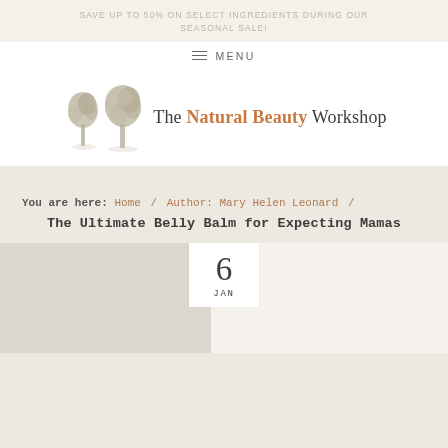SAVE UP TO 50% ON SELECT INGREDIENTS DURING OUR SEASONAL SALE!
≡ MENU
[Figure (logo): The Natural Beauty Workshop logo with two illustrated trees on the left and the brand name on the right. 'Natural Beauty' appears in orange/terracotta, 'The' and 'Workshop' in dark grey.]
You are here: Home / Author: Mary Helen Leonard / The Ultimate Belly Balm for Expecting Mamas
The Ultimate Belly Balm for Expecting Mamas
6 JAN